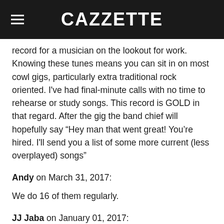CAZZETTE
record for a musician on the lookout for work. Knowing these tunes means you can sit in on most cowl gigs, particularly extra traditional rock oriented. I've had final-minute calls with no time to rehearse or study songs. This record is GOLD in that regard. After the gig the band chief will hopefully say “Hey man that went great! You’re hired. I'll send you a list of some more current (less overplayed) songs”
Andy on March 31, 2017:
We do 16 of them regularly.
JJ Jaba on January 01, 2017:
Every single considered one of these songs has been